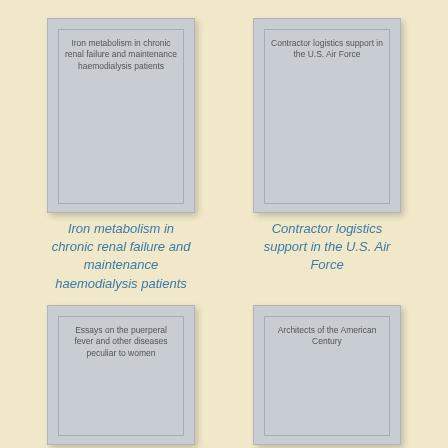[Figure (illustration): Book card thumbnail for 'Iron metabolism in chronic renal failure and maintenance haemodialysis patients']
[Figure (illustration): Book card thumbnail for 'Contractor logistics support in the U.S. Air Force']
Iron metabolism in chronic renal failure and maintenance haemodialysis patients
Contractor logistics support in the U.S. Air Force
[Figure (illustration): Book card thumbnail for 'Essays on the puerperal fever and other diseases peculiar to women']
[Figure (illustration): Book card thumbnail for 'Architects of the American Century']
Essays on the puerperal fever and other diseases peculiar to women
Architects of the American Century